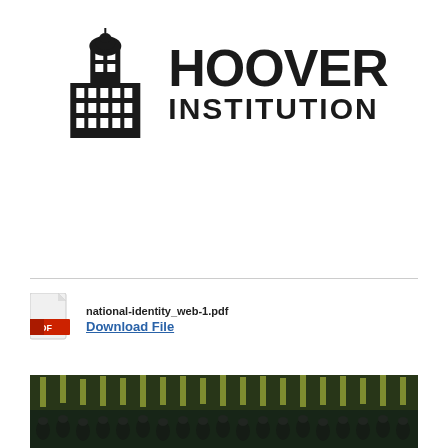[Figure (logo): Hoover Institution logo with tower building icon and text HOOVER INSTITUTION]
national-identity_web-1.pdf
Download File
[Figure (photo): Crowd of uniformed people carrying yellow-green flags at a military or political rally]